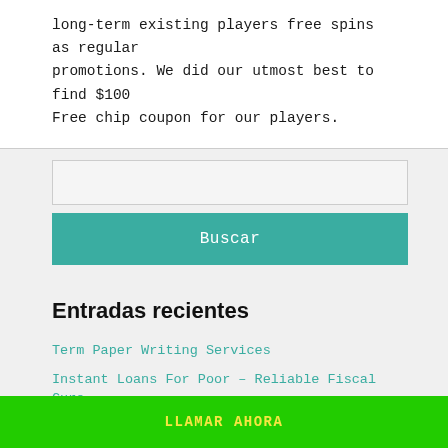long-term existing players free spins as regular promotions. We did our utmost best to find $100 Free chip coupon for our players.
[Figure (other): Search input field (text box)]
Buscar
Entradas recientes
Term Paper Writing Services
Instant Loans For Poor – Reliable Fiscal Cure
LLAMAR AHORA